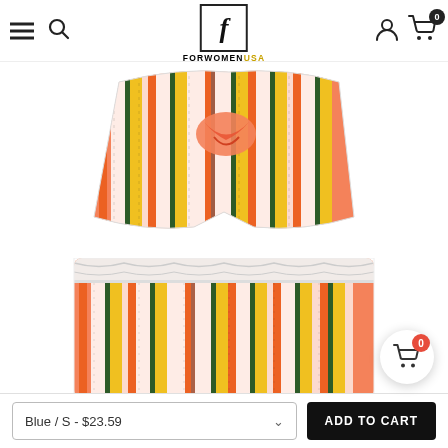ForWomenUSA — navigation bar with hamburger menu, search icon, logo, user icon, cart (0)
[Figure (photo): Top-down / cropped view of a striped shorts set (orange, yellow, white, dark green stripes) tied at waist, on white background]
[Figure (photo): Close-up front view of striped shorts waistband and fabric (orange, yellow, white, dark green stripes) on white background]
Blue / S - $23.59
ADD TO CART